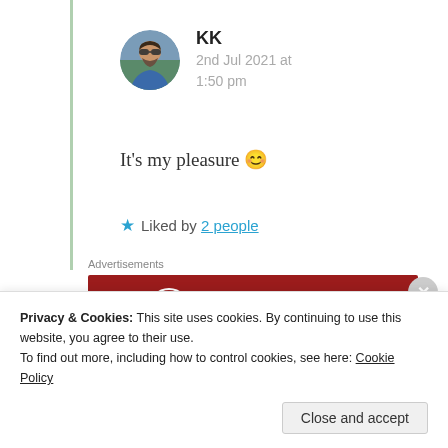[Figure (photo): Round avatar photo of a man with sunglasses and a beard, wearing a blue shirt]
KK
2nd Jul 2021 at 1:50 pm
It's my pleasure 😊
★ Liked by 2 people
Advertisements
[Figure (logo): Longreads logo on a dark red background with a circle L emblem and horizontal decorative lines]
Privacy & Cookies: This site uses cookies. By continuing to use this website, you agree to their use.
To find out more, including how to control cookies, see here: Cookie Policy
Close and accept